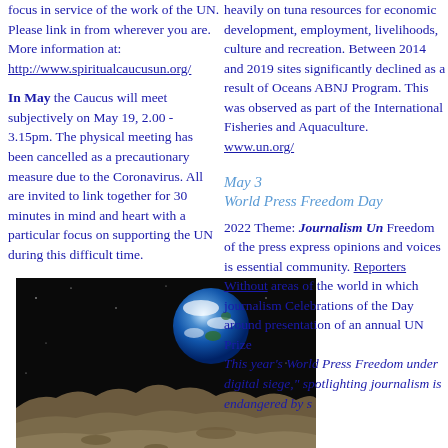focus in service of the work of the UN.
Please link in from wherever you are. More information at:
http://www.spiritualcaucusun.org/
In May the Caucus will meet subjectively on May 19, 2.00 - 3.15pm. The physical meeting has been cancelled as a precautionary measure due to the Coronavirus. All are invited to link together for 30 minutes in mind and heart with a particular focus on supporting the UN during this difficult time.
[Figure (photo): Earthrise photo showing Earth rising over the lunar surface against a black space background]
heavily on tuna resources for economic development, employment, livelihoods, culture and recreation. Between 2014 and 2019 sites significantly declined as a result of Oceans ABNJ Program. This was observed as part of the International Fisheries and Aquaculture.
www.un.org/
May 3
World Press Freedom Day
2022 Theme: Journalism Under... Freedom of the press expressing opinions and voices is essential to community. Reporters Without... areas of the world in which journalism... Celebrations of the Day around... presentation of an annual UN... Prize
This year's World Press Freedom... under digital siege," spotlighting journalism is endangered by s...